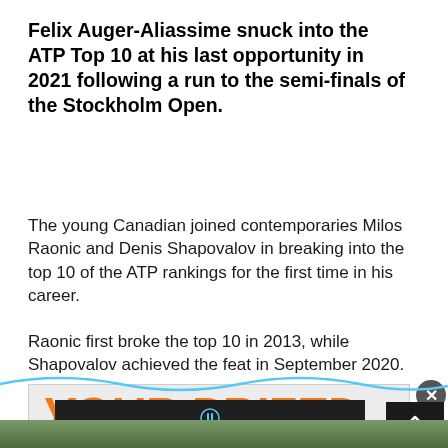Felix Auger-Aliassime snuck into the ATP Top 10 at his last opportunity in 2021 following a run to the semi-finals of the Stockholm Open.
The young Canadian joined contemporaries Milos Raonic and Denis Shapovalov in breaking into the top 10 of the ATP rankings for the first time in his career.
Raonic first broke the top 10 in 2013, while Shapovalov achieved the feat in September 2020.
[Figure (screenshot): Advertisement banner showing 'YOUR PRIZED' text in orange italic letters on a light background, with wave graphic overlaid, a close button, and a 'Hold and Move' interactive ad element below.]